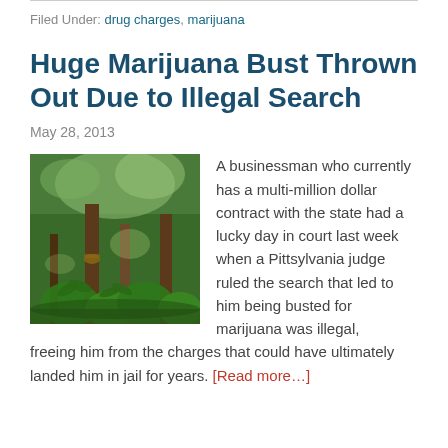Filed Under: drug charges, marijuana
Huge Marijuana Bust Thrown Out Due to Illegal Search
May 28, 2013
[Figure (photo): Outdoor forest scene with marijuana plants and tree trunks visible in sunlit greenery]
A businessman who currently has a multi-million dollar contract with the state had a lucky day in court last week when a Pittsylvania judge ruled the search that led to him being busted for marijuana was illegal, freeing him from the charges that could have ultimately landed him in jail for years. [Read more…]